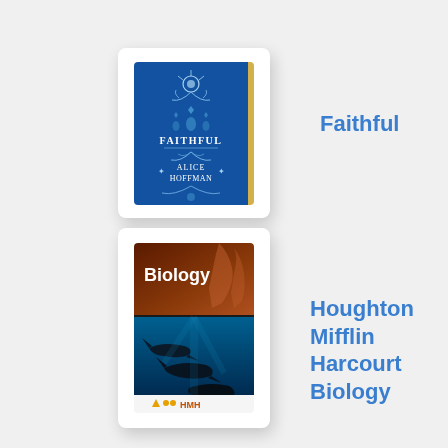[Figure (illustration): Book cover of 'Faithful' by Alice Hoffman — dark blue with intricate white botanical/floral illustrations and a small yellow spine accent]
Faithful
[Figure (illustration): Book cover of 'Houghton Mifflin Harcourt Biology' — dark upper half with 'Biology' text, lower half showing sharks underwater in blue tones, HMH logo at bottom]
Houghton Mifflin Harcourt Biology